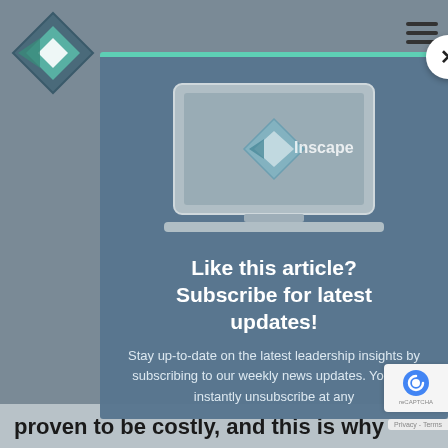[Figure (logo): Inscape diamond/arrow logo, teal and grey, top left]
[Figure (screenshot): Modal popup overlay on a website. Contains a close (X) button, a laptop illustration showing the Inscape logo, a bold white headline, and descriptive body text about subscribing for updates.]
Like this article? Subscribe for latest updates!
Stay up-to-date on the latest leadership insights by subscribing to our weekly news updates. You can instantly unsubscribe at any
proven to be costly, and this is why